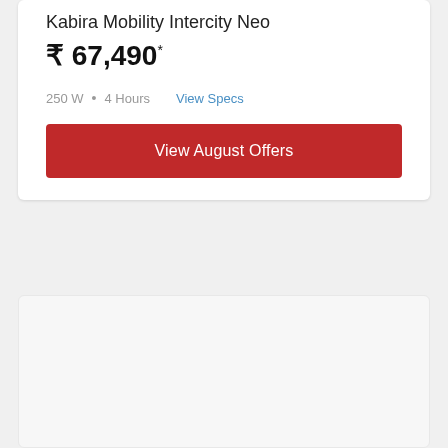Kabira Mobility Intercity Neo
₹ 67,490*
250 W • 4 Hours   View Specs
View August Offers